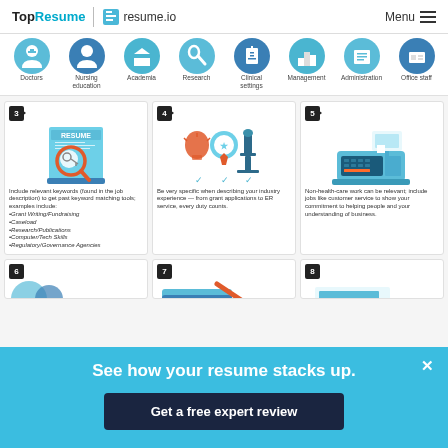TopResume | resume.io   Menu
[Figure (infographic): Row of circular teal icons for healthcare resume categories: Doctors, Nursing education, Academia, Research, Clinical settings, Management, Administration, Office staff]
[Figure (infographic): Card 3: Resume with magnifying glass and key icon — tip about including relevant keywords]
Include relevant keywords (found in the job description) to get past keyword matching tools; examples include:
•Grant Writing/Fundraising
•Caseload
•Research/Publications
•Computer/Tech Skills
•Regulatory/Governance Agencies
[Figure (infographic): Card 4: Icons of light bulb, award ribbon, microscope with checkmarks — tip about being specific about industry experience]
Be very specific when describing your industry experience — from grant applications to ER service, every duty counts.
[Figure (infographic): Card 5: Cash register illustration — tip about non-health-care work]
Non-health-care work can be relevant; include jobs like customer service to show your commitment to helping people and your understanding of business.
[Figure (infographic): Partial cards 6, 7, 8 visible at bottom]
See how your resume stacks up.
Get a free expert review